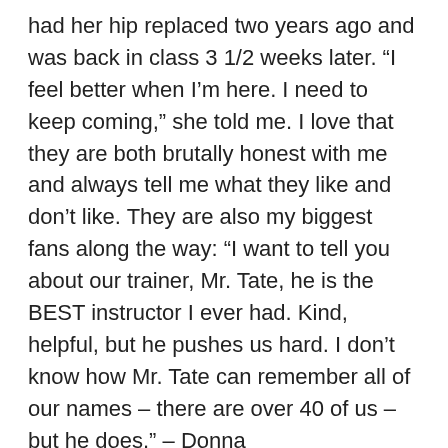had her hip replaced two years ago and was back in class 3 1/2 weeks later. “I feel better when I’m here. I need to keep coming,” she told me. I love that they are both brutally honest with me and always tell me what they like and don’t like. They are also my biggest fans along the way: “I want to tell you about our trainer, Mr. Tate, he is the BEST instructor I ever had. Kind, helpful, but he pushes us hard. I don’t know how Mr. Tate can remember all of our names – there are over 40 of us – but he does.” – Donna
Together these two are quite the team. Friends and workout accountability partners. Fighters of a disease they didn’t deserve and focused on improving themselves every time they step in the door together.
It’s examples of incredible fighters like Donna and Nancy that this nonprofit exists. Connecting people fighting